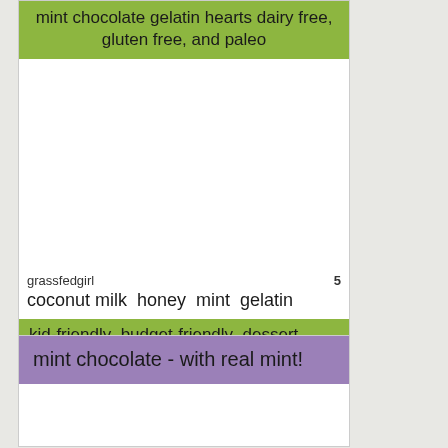mint chocolate gelatin hearts dairy free, gluten free, and paleo
[Figure (photo): Empty white image area for recipe card photo]
grassfedgirl   5
coconut milk  honey  mint  gelatin
kid-friendly  budget-friendly  dessert
mint chocolate - with real mint!
[Figure (photo): Empty white image area for second recipe card]